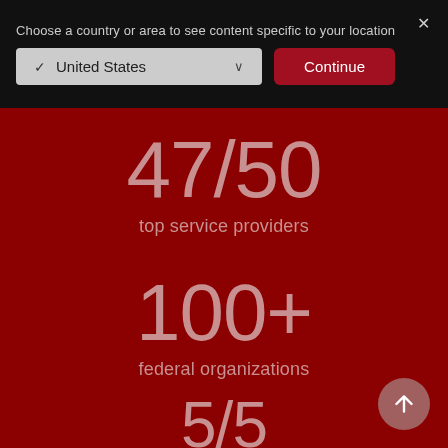Choose a country or area to see content specific to your location
✓ United States
Continue
47/50
top service providers
100+
federal organizations
5/5